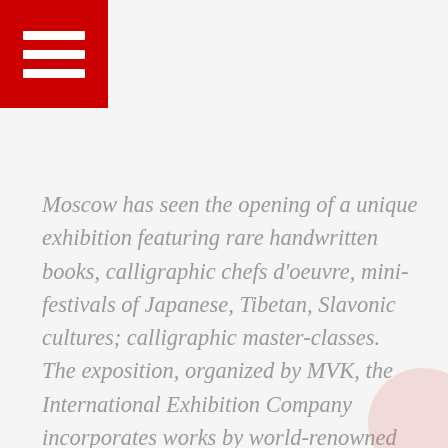[Figure (logo): Red square with three white horizontal bars (hamburger menu icon) in the top-left corner]
Moscow has seen the opening of a unique exhibition featuring rare handwritten books, calligraphic chefs d'oeuvre, mini-festivals of Japanese, Tibetan, Slavonic cultures; calligraphic master-classes. The exposition, organized by MVK, the International Exhibition Company incorporates works by world-renowned calligraphers from thirty-three countries, such as: Russia, Ukraine, Belarus, Israel, USA, Japan, China, France, Italy, Germany, Australia, Brazil, etc. Here you will find exquisite samples of Slavic and European writing, strict forms